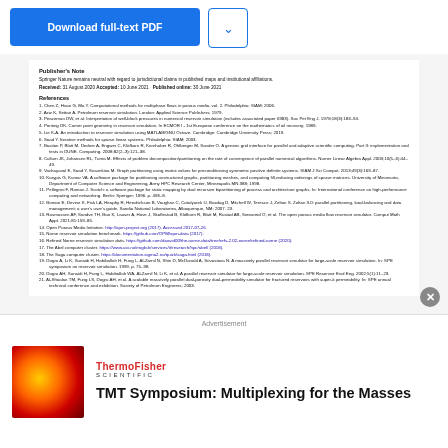[Figure (screenshot): Download full-text PDF button and dropdown arrow button in blue]
Publisher's Note
Springer Nature remains neutral with regard to jurisdictional claims in published maps and institutional affiliations.
Received: 31 August 2020 Accepted: 10 June 2021  Published online: 30 June 2021
References
1. Chen Z, Huan G, Ma Y. Computational methods for multiphase flows in porous media. vol. 2. Philadelphia: SIAM; 2006.
2. Aziz K, Settari A. Petroleum reservoir simulation. London: Applied Science Publishers; 1979.
3. Peaceman DW, et al. Interpretation of well-block pressures in numerical reservoir simulation (includes associated paper 6983). Soc Pet Eng J. 1978;18(3):183–94.
4. Ponting DK. Corner point geometry in reservoir simulation. In ECMOR I - 1st European conference on the mathematics of oil recovery; 1989.
5. Lie K-A. An introduction to reservoir simulation using MATLAB/GNU Octave. Cambridge: Cambridge University Press; 2019.
6. Saad Y. Iterative methods for sparse linear systems. Philadelphia: SIAM; 2003.
7. Bastian P, Blatt M, Dedner A, Engwer C, Klöfkorn R, Kornhuber R, Ohlberger M, Sander O. A generic grid interface for parallel and adaptive scientific computing. Part II: implementation and tests in DUNE. Computing. 2008;82(2–3):121–38.
8. Cullum JK, Johansen RL, Tuma M. Effects of problem decomposition/partitioning on the rate of convergence of parallel numerical algorithms. Numer Linear Algebra Appl. 2003;10(5–6):44–49.
9. Vachayaval E, Saad Y, Sosonkina M. Graph partitioning using matrix values for preconditioning symmetric positive definite systems. SIAM J Sci Comput. 2013;49(3):169–87.
10. Karypis G, Kumar VA. A software package for partitioning unstructured graphs, partitioning meshes, and computing fill-reducing orderings of sparse matrices. University of Minnesota, Department of Computer Science and Engineering, Army HPC Research Center, Minneapolis MN 388; 1998.
11. Pellegrini F, Roman J. Scotch: a software package for static mapping by dual recursive bipartitioning of process and architecture graphs. In: International conference on high-performance computing and networking. Berlin: Springer; 1996. p. 493–8.
12. Boman E, Devine K, Fisk LA, Heaphy R, Hendrickson B, Vaughan C, Catalyurek U, Bozdag D, Mitchell W, Teresco J, Zeltan S. Zoltan 3.0: parallel partitioning, load-balancing and data management; a user's user's guide. Sandia National Laboratories, Albuquerque, NM; 2007. 23.
13. Rasmussen AF, Sandve TH, Bao K, Lauser A, Hove J, Skaflestad B, Klöfkorn R, Blatt M, Rustad AB, Sævareid O, et al. The open porous media flow reservoir simulator. Comput Math Appl. 2021;81:159–85.
14. Open Porous Media Initiative. http://opm-project.org (2017). Accessed 2017-07-26.
15. Norne reservoir simulation benchmark. https://github.com/OPM/opm-data (2017).
16. Refined Norne reservoir simulation data. https://github.com/daavid00/the-norne-data/tree/refs-2.02-norne/refined-norne (2020).
17. The Abel computer cluster. https://www.uio.no/english/services/it/research/hpc/abel/ (2018).
18. The Saga computer cluster. https://documentation.sigma2.no/quick/saga.html (2018).
19. Dogru A, Li K, Sunaidi H, Habiballah H, Fung L, Al-Zamil N, Shin D, McDonald A, Srivastava N. A massively parallel reservoir simulator for large-scale reservoir simulation. In: SPE symposium on reservoir simulation. 1999. p. 75–98.
20. Dogru AH, Sunaidi H, Fung L, Habiballah WA, Al-Zamil N, Li K, et al. A parallel reservoir simulator for large-scale reservoir simulation. SPE Reservoir Eval Eng. 2002;5(1):11–23.
21. Al-Shaalan TM, Fung LS, Dogru AH, et al. A scalable massively parallel dual-porosity dual-permeability simulator for fractured reservoirs with super-k permeability. In: SPE annual technical conference and exhibition. Society of Petroleum Engineers; 2003.
[Figure (infographic): ThermoFisher Scientific advertisement: TMT Symposium: Multiplexing for the Masses, with red/orange cell image]